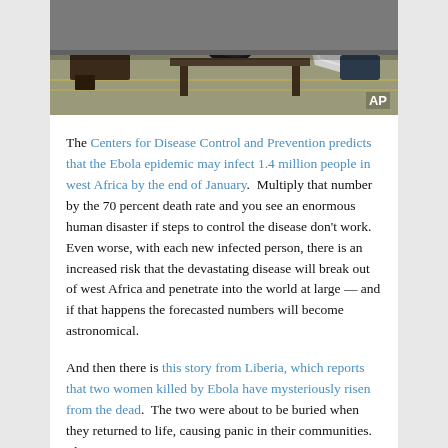[Figure (photo): Photograph of an indoor scene with tables/benches and scattered items on floor, AP credit in bottom right corner]
The Centers for Disease Control and Prevention predicts that the Ebola epidemic may infect 1.4 million people in west Africa by the end of January.  Multiply that number by the 70 percent death rate and you see an enormous human disaster if steps to control the disease don't work. Even worse, with each new infected person, there is an increased risk that the devastating disease will break out of west Africa and penetrate into the world at large — and if that happens the forecasted numbers will become astronomical.
And then there is this story from Liberia, which reports that two women killed by Ebola have mysteriously risen from the dead.  The two were about to be buried when they returned to life, causing panic in their communities. The...